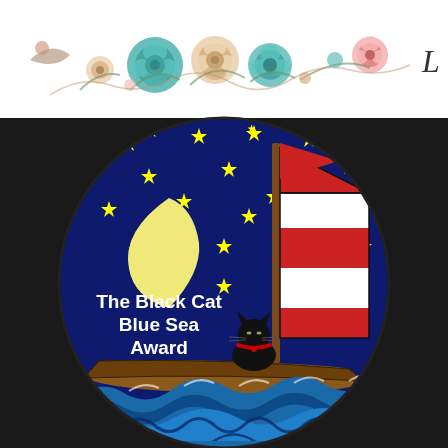[Figure (illustration): Decorative floral header banner with roses and flowers in teal, peach, and pink tones on white background, with letter L in top right corner]
[Figure (illustration): The Black Cat Blue Sea Award badge: circular badge with dark blue starry night background, yellow crescent moon, black cat sitting in a wooden sailboat with red and white striped sails, blue waves below, text reads 'The Black Cat Blue Sea Award' in white]